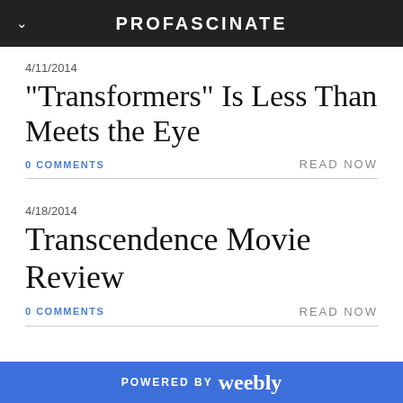PROFASCINATE
4/11/2014
"Transformers" Is Less Than Meets the Eye
0 COMMENTS   READ NOW
4/18/2014
Transcendence Movie Review
0 COMMENTS   READ NOW
POWERED BY weebly